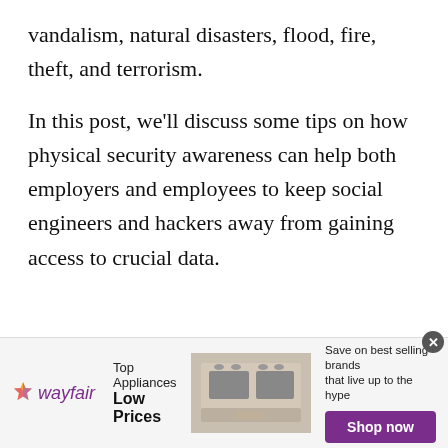vandalism, natural disasters, flood, fire, theft, and terrorism.
In this post, we'll discuss some tips on how physical security awareness can help both employers and employees to keep social engineers and hackers away from gaining access to crucial data.
[Figure (infographic): Wayfair advertisement banner: logo with colorful star icon and purple italic 'wayfair' text, 'Top Appliances Low Prices' text, image of a stove/range appliance, and 'Save on best selling brands that live up to the hype' with purple 'Shop now' button. Close button (X) in top right corner.]